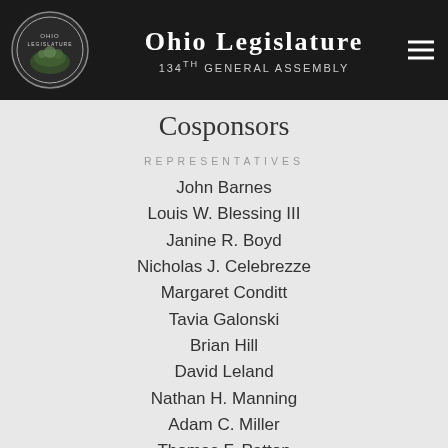Ohio Legislature 134th General Assembly
Cosponsors
REPRESENTATIVES
John Barnes
Louis W. Blessing III
Janine R. Boyd
Nicholas J. Celebrezze
Margaret Conditt
Tavia Galonski
Brian Hill
David Leland
Nathan H. Manning
Adam C. Miller
Thomas F. Patton
Jeff Rezabek
Craig S. Riedel
John M. Rogers
Tim Schaffer